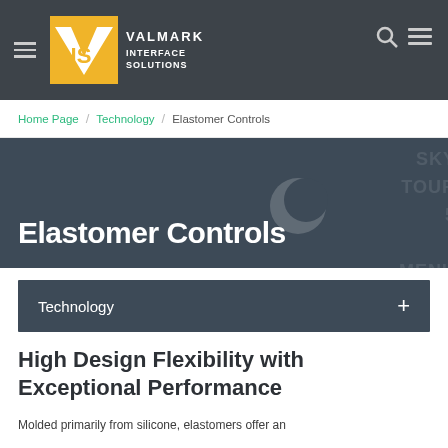VIS VALMARK INTERFACE SOLUTIONS
Home Page / Technology / Elastomer Controls
Elastomer Controls
Technology
High Design Flexibility with Exceptional Performance
Molded primarily from silicone, elastomers offer an